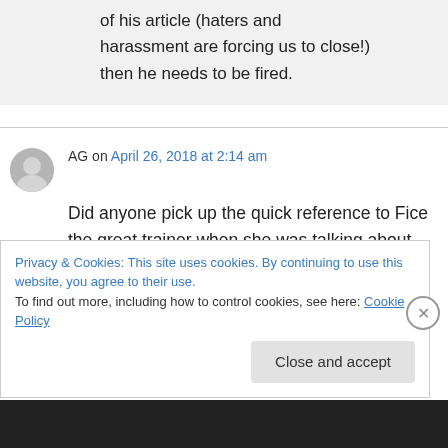of his article (haters and harassment are forcing us to close!) then he needs to be fired.
AG on April 26, 2018 at 2:14 am
Did anyone pick up the quick reference to Fice the great trainer when she was talking about Dylan? If Fice was such a great trainer and we know he is not, why does the horse still need a
Privacy & Cookies: This site uses cookies. By continuing to use this website, you agree to their use.
To find out more, including how to control cookies, see here: Cookie Policy